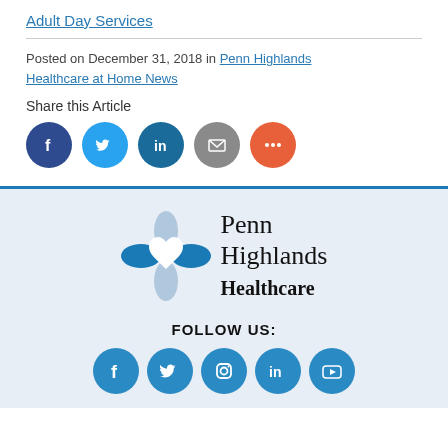Adult Day Services
Posted on December 31, 2018 in Penn Highlands Healthcare at Home News
Share this Article
[Figure (infographic): Social share buttons: Facebook, Twitter, LinkedIn, Email, More]
[Figure (logo): Penn Highlands Healthcare logo with stylized heart/arrow emblem]
FOLLOW US:
[Figure (infographic): Social follow icons: Facebook, Twitter, Instagram, LinkedIn, YouTube]